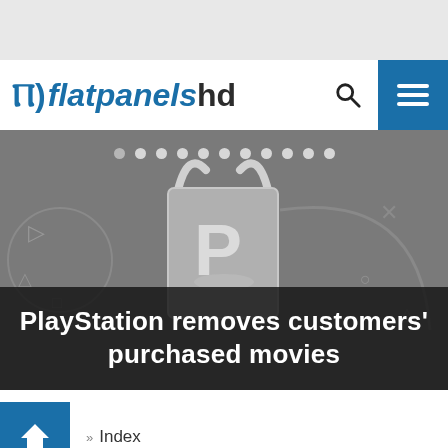[Figure (screenshot): Top gray background area of webpage]
flatpanelshd
[Figure (photo): PlayStation Store shopping bag graphic on dark gray background with game controller symbols, with dots navigation row at top]
PlayStation removes customers' purchased movies
» Index